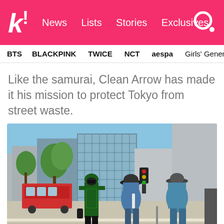k! News Lists Stories Exclusives
BTS  BLACKPINK  TWICE  NCT  aespa  Girls' Generation
Like the samurai, Clean Arrow has made it his mission to protect Tokyo from street waste.
[Figure (photo): Photo of three people on a Tokyo street crosswalk. One person is dressed in a green superhero costume with a hood and mask (resembling Green Arrow). The other two are wearing casual blue clothing and hats. In the background are Tokyo city buildings, green trees, a red bus, and traffic lights under a clear blue sky.]